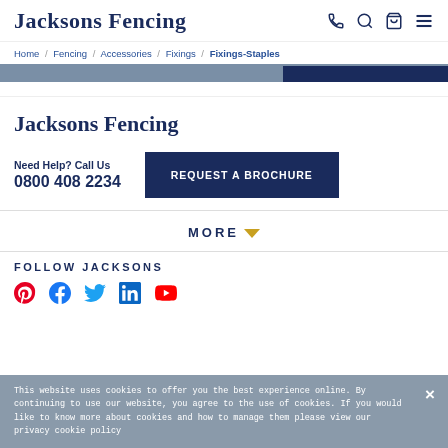Jacksons Fencing
Home / Fencing / Accessories / Fixings / Fixings-Staples
Jacksons Fencing
Need Help? Call Us
0800 408 2234
REQUEST A BROCHURE
MORE
FOLLOW JACKSONS
This website uses cookies to offer you the best experience online. By continuing to use our website, you agree to the use of cookies. If you would like to know more about cookies and how to manage them please view our privacy cookie policy